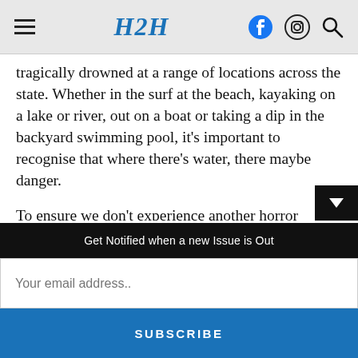H2H
tragically drowned at a range of locations across the state. Whether in the surf at the beach, kayaking on a lake or river, out on a boat or taking a dip in the backyard swimming pool, it's important to recognise that where there's water, there maybe danger.
To ensure we don't experience another horror summer season, community-based organisations that run water safety initiatives are urged to ap
Get Notified when a new Issue is Out
Your email address..
SUBSCRIBE